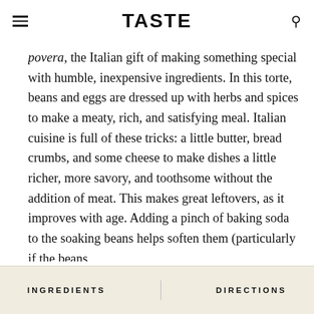TASTE
povera, the Italian gift of making something special with humble, inexpensive ingredients. In this torte, beans and eggs are dressed up with herbs and spices to make a meaty, rich, and satisfying meal. Italian cuisine is full of these tricks: a little butter, bread crumbs, and some cheese to make dishes a little richer, more savory, and toothsome without the addition of meat. This makes great leftovers, as it improves with age. Adding a pinch of baking soda to the soaking beans helps soften them (particularly if the beans
INGREDIENTS   DIRECTIONS